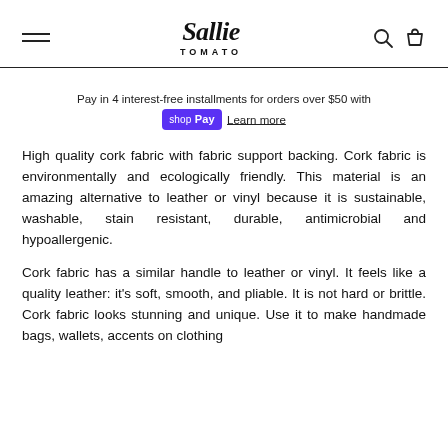Sallie Tomato
Pay in 4 interest-free installments for orders over $50 with shop Pay Learn more
High quality cork fabric with fabric support backing. Cork fabric is environmentally and ecologically friendly. This material is an amazing alternative to leather or vinyl because it is sustainable, washable, stain resistant, durable, antimicrobial and hypoallergenic.
Cork fabric has a similar handle to leather or vinyl. It feels like a quality leather: it's soft, smooth, and pliable. It is not hard or brittle. Cork fabric looks stunning and unique. Use it to make handmade bags, wallets, accents on clothing